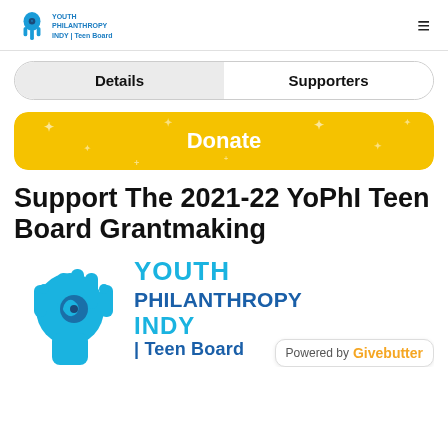Youth Philanthropy Indy Teen Board (logo) | hamburger menu
Details | Supporters
Donate
Support The 2021-22 YoPhI Teen Board Grantmaking
[Figure (logo): Youth Philanthropy Indy Teen Board logo: teal hamsa hand with swirl and text YOUTH PHILANTHROPY INDY | Teen Board]
Powered by Givebutter